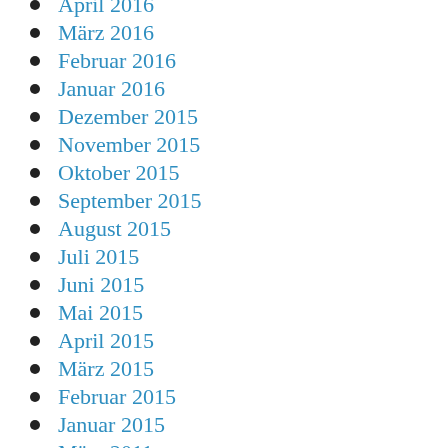April 2016
März 2016
Februar 2016
Januar 2016
Dezember 2015
November 2015
Oktober 2015
September 2015
August 2015
Juli 2015
Juni 2015
Mai 2015
April 2015
März 2015
Februar 2015
Januar 2015
März 2011